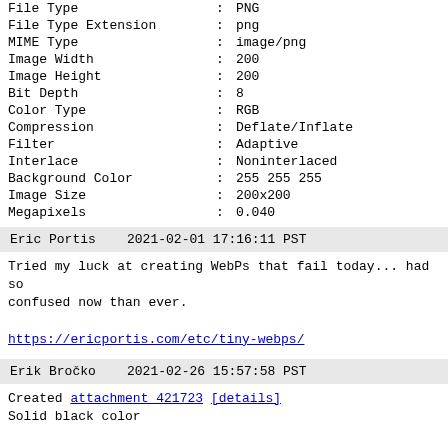| File Type | : | PNG |
| File Type Extension | : | png |
| MIME Type | : | image/png |
| Image Width | : | 200 |
| Image Height | : | 200 |
| Bit Depth | : | 8 |
| Color Type | : | RGB |
| Compression | : | Deflate/Inflate |
| Filter | : | Adaptive |
| Interlace | : | Noninterlaced |
| Background Color | : | 255 255 255 |
| Image Size | : | 200x200 |
| Megapixels | : | 0.040 |
Eric Portis    2021-02-01 17:16:11 PST
Tried my luck at creating WebPs that fail today... had so confused now than ever.
https://ericportis.com/etc/tiny-webps/
Erik Bročko    2021-02-26 15:57:58 PST
Created attachment 421723 [details]
Solid black color
This is what cwebp spits out for a PNG with purely black